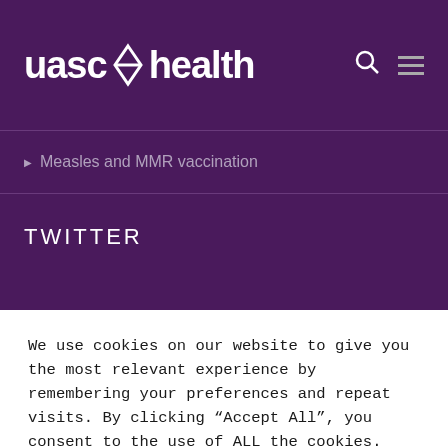[Figure (logo): uasc health logo with white arrow/cross symbol between 'uasc' and 'health' text on purple background]
Measles and MMR vaccination
TWITTER
We use cookies on our website to give you the most relevant experience by remembering your preferences and repeat visits. By clicking “Accept All”, you consent to the use of ALL the cookies. However, you may visit “Cookie Settings” to provide a controlled consent.
Cookie Settings | Accept All